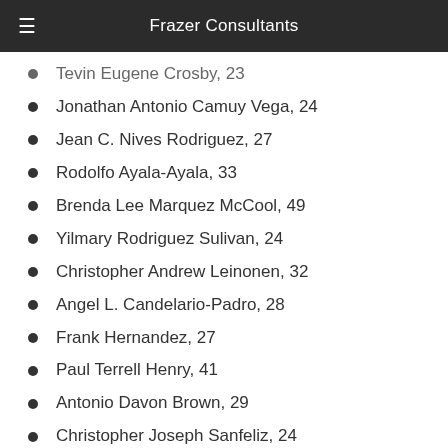Frazer Consultants
Tevin Eugene Crosby, 23
Jonathan Antonio Camuy Vega, 24
Jean C. Nives Rodriguez, 27
Rodolfo Ayala-Ayala, 33
Brenda Lee Marquez McCool, 49
Yilmary Rodriguez Sulivan, 24
Christopher Andrew Leinonen, 32
Angel L. Candelario-Padro, 28
Frank Hernandez, 27
Paul Terrell Henry, 41
Antonio Davon Brown, 29
Christopher Joseph Sanfeliz, 24
Akyra Monet Murray, 18
Geraldo A. Ortiz-Jimenez, 25